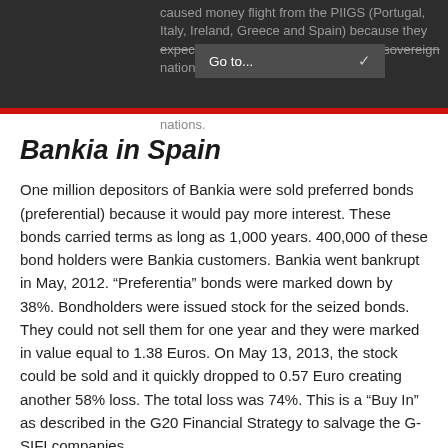caused money flight from the PIIGS (Portugal, Italy, Ireland, Greece and Spain) because they expect the same thing to occur in their sovereign nations.
Bankia in Spain
One million depositors of Bankia were sold preferred bonds (preferential) because it would pay more interest. These bonds carried terms as long as 1,000 years. 400,000 of these bond holders were Bankia customers. Bankia went bankrupt in May, 2012. “Preferentia” bonds were marked down by 38%. Bondholders were issued stock for the seized bonds. They could not sell them for one year and they were marked in value equal to 1.38 Euros. On May 13, 2013, the stock could be sold and it quickly dropped to 0.57 Euro creating another 58% loss. The total loss was 74%. This is a “Buy In” as described in the G20 Financial Strategy to salvage the G-SIFI companies.